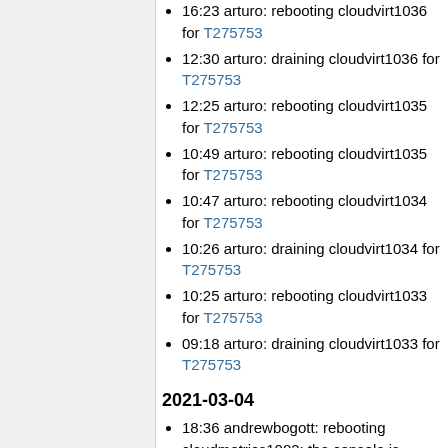16:23 arturo: rebooting cloudvirt1036 for T275753
12:30 arturo: draining cloudvirt1036 for T275753
12:25 arturo: rebooting cloudvirt1035 for T275753
10:49 arturo: rebooting cloudvirt1035 for T275753
10:47 arturo: rebooting cloudvirt1034 for T275753
10:26 arturo: draining cloudvirt1034 for T275753
10:25 arturo: rebooting cloudvirt1033 for T275753
09:18 arturo: draining cloudvirt1033 for T275753
2021-03-04
18:36 andrewbogott: rebooting cloudmetrics1002: the console is